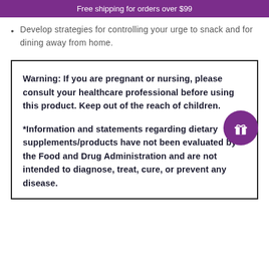Free shipping for orders over $99
Develop strategies for controlling your urge to snack and for dining away from home.
Warning: If you are pregnant or nursing, please consult your healthcare professional before using this product. Keep out of the reach of children.

*Information and statements regarding dietary supplements/products have not been evaluated by the Food and Drug Administration and are not intended to diagnose, treat, cure, or prevent any disease.